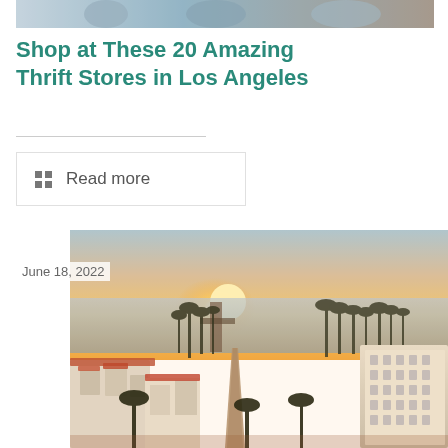[Figure (photo): Partial top strip of a photo showing people, cropped at top]
Shop at These 20 Amazing Thrift Stores in Los Angeles
Read more
June 18, 2022
[Figure (photo): Aerial sunset view of Santa Barbara/Los Angeles coastal city with palm trees, white buildings with red tile roofs, and ocean in background]